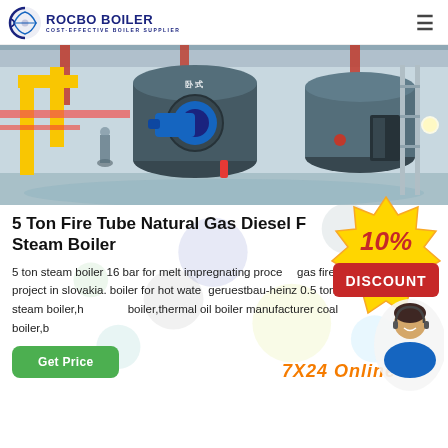ROCBO BOILER — COST-EFFECTIVE BOILER SUPPLIER
[Figure (photo): Industrial boiler room with large blue cylindrical fire tube boilers, yellow piping, red supports, and workers in background]
5 Ton Fire Tube Natural Gas Diesel Fired Steam Boiler
5 ton steam boiler 16 bar for melt impregnating process gas fired boiler project in slovakia. boiler for hot water geruestbau-heinz 0.5 ton-25 ton steam boiler,hot water boiler,thermal oil boiler manufacturer coal boiler,b
[Figure (infographic): 10% DISCOUNT badge in red and yellow comic style, with a customer service agent overlay and 7X24 Online text]
Get Price